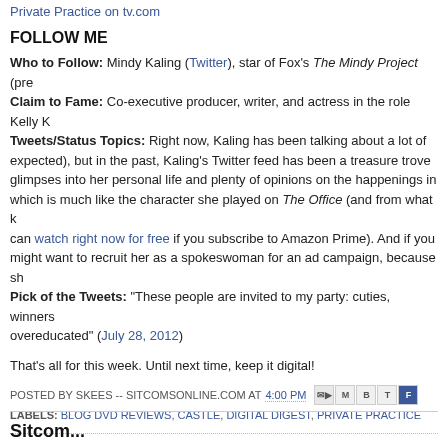Private Practice on tv.com
FOLLOW ME
Who to Follow: Mindy Kaling (Twitter), star of Fox's The Mindy Project (pre... Claim to Fame: Co-executive producer, writer, and actress in the role Kelly K... Tweets/Status Topics: Right now, Kaling has been talking about a lot of expected), but in the past, Kaling's Twitter feed has been a treasure trove glimpses into her personal life and plenty of opinions on the happenings in which is much like the character she played on The Office (and from what k can watch right now for free if you subscribe to Amazon Prime). And if you might want to recruit her as a spokeswoman for an ad campaign, because sh... Pick of the Tweets: "These people are invited to my party: cuties, winners overeducated" (July 28, 2012)
That's all for this week. Until next time, keep it digital!
POSTED BY SKEES -- SITCOMSONLINE.COM AT 4:00 PM
LABELS: BLOG DVD REVIEWS, CASTLE, DIGITAL DIGEST, PRIVATE PRACTICE
Newer Post | Home
Sitcom...